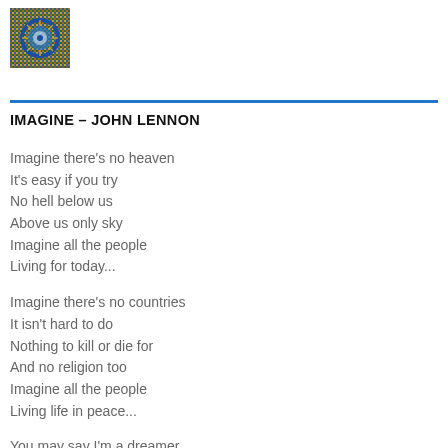[Figure (illustration): Circular mosaic or mandala-style decorative image in blue and gold tones, positioned top-left corner.]
IMAGINE – JOHN LENNON
Imagine there's no heaven
It's easy if you try
No hell below us
Above us only sky
Imagine all the people
Living for today...

Imagine there's no countries
It isn't hard to do
Nothing to kill or die for
And no religion too
Imagine all the people
Living life in peace...

You may say I'm a dreamer
But I'm not the only one
I hope someday you'll join us
And the world will be as one